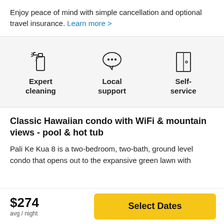Enjoy peace of mind with simple cancellation and optional travel insurance. Learn more >
[Figure (infographic): Three icons with labels: Expert cleaning (spray bottle icon), Local support (speech bubble icon), Self-service (door icon)]
Classic Hawaiian condo with WiFi & mountain views - pool & hot tub
Pali Ke Kua 8 is a two-bedroom, two-bath, ground level condo that opens out to the expansive green lawn with
$274
avg / night
Select Dates